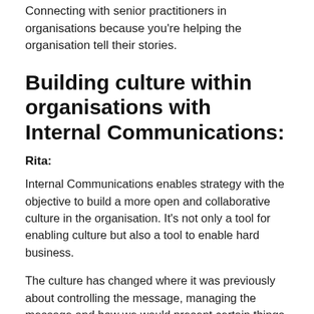Connecting with senior practitioners in organisations because you're helping the organisation tell their stories.
Building culture within organisations with Internal Communications:
Rita:
Internal Communications enables strategy with the objective to build a more open and collaborative culture in the organisation. It's not only a tool for enabling culture but also a tool to enable hard business.
The culture has changed where it was previously about controlling the message, managing the message and how we would present certain things to people. The reality is now the